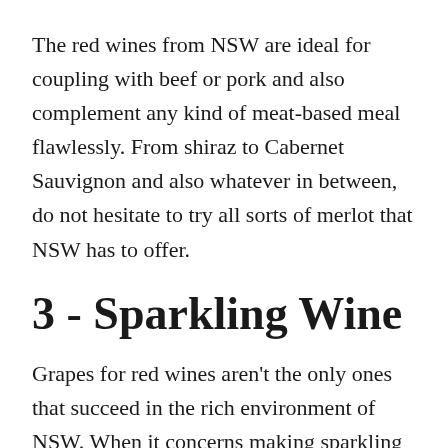The red wines from NSW are ideal for coupling with beef or pork and also complement any kind of meat-based meal flawlessly. From shiraz to Cabernet Sauvignon and also whatever in between, do not hesitate to try all sorts of merlot that NSW has to offer.
3 - Sparkling Wine
Grapes for red wines aren't the only ones that succeed in the rich environment of NSW. When it concerns making sparkling wine, the grapes made use of for pinot noir and chardonnay can provide a refreshing champagne that is clean, crisp, and also absolutely scrumptious.